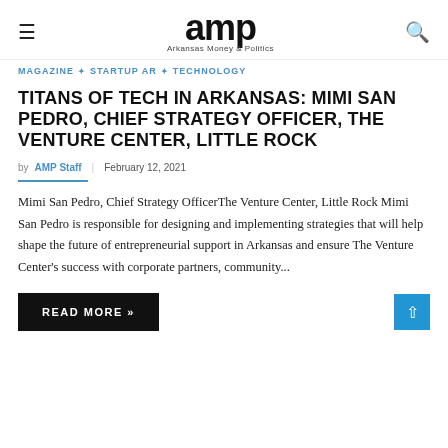amp — Arkansas Money & Politics
MAGAZINE ◈ STARTUP AR ◈ TECHNOLOGY
TITANS OF TECH IN ARKANSAS: MIMI SAN PEDRO, CHIEF STRATEGY OFFICER, THE VENTURE CENTER, LITTLE ROCK
by AMP Staff | February 12, 2021
Mimi San Pedro, Chief Strategy OfficerThe Venture Center, Little Rock Mimi San Pedro is responsible for designing and implementing strategies that will help shape the future of entrepreneurial support in Arkansas and ensure The Venture Center's success with corporate partners, community...
READ MORE »